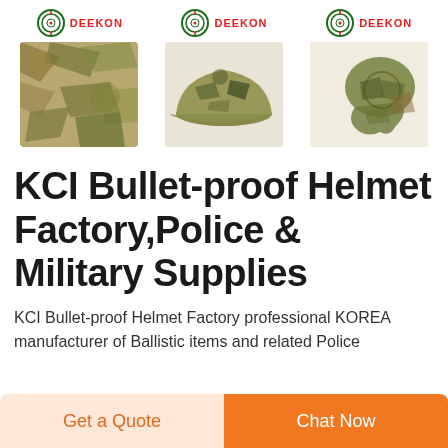[Figure (photo): Three DEEKON branded military/tactical product images side by side: camouflage fabric, military patrol cap, and camouflage scarf/sniper veil]
KCI Bullet-proof Helmet Factory,Police & Military Supplies
KCI Bullet-proof Helmet Factory professional KOREA manufacturer of Ballistic items and related Police
[Figure (other): Get a Quote button (light orange background, orange text)]
[Figure (other): Chat Now button (orange background, white text)]